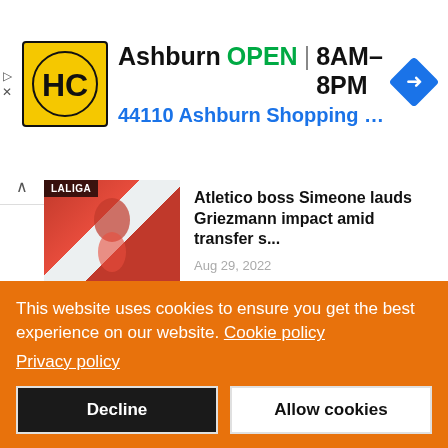[Figure (other): Advertisement banner for HC store in Ashburn showing logo, OPEN status, hours 8AM-8PM, address 44110 Ashburn Shopping Plaza 1., and navigation icon]
Atletico boss Simeone lauds Griezmann impact amid transfer s... Aug 29, 2022
Walcott produces 84.82m to win Javelin at Luzern World Athle... Aug 29, 2022
This website uses cookies to ensure you get the best experience on our website. Cookie policy
Privacy policy
Decline   Allow cookies